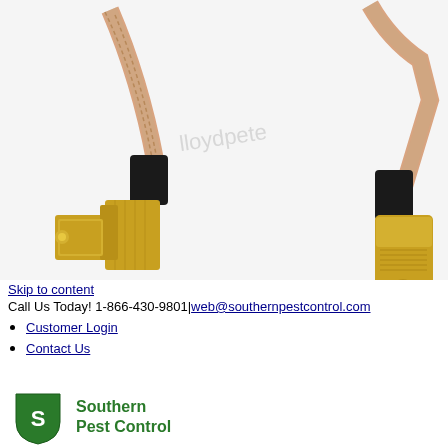[Figure (photo): Photo of two gold SMA RF coaxial cable connectors — one right-angle male (left) and one female (right) — attached to a braided pink/copper coaxial cable on a white background. A faint watermark reads 'lloydpete' in the center.]
Skip to content
Call Us Today! 1-866-430-9801|web@southernpestcontrol.com
Customer Login
Contact Us
[Figure (logo): Southern Pest Control logo — green shield icon with white stylized SP letters, followed by green text 'Southern Pest Control']